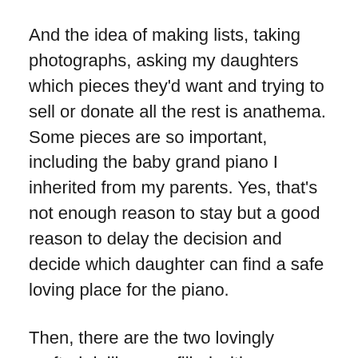And the idea of making lists, taking photographs, asking my daughters which pieces they'd want and trying to sell or donate all the rest is anathema. Some pieces are so important, including the baby grand piano I inherited from my parents. Yes, that's not enough reason to stay but a good reason to delay the decision and decide which daughter can find a safe loving place for the piano.
Then, there are the two lovingly crafted dollhouses filled with furnishings that can't just be put up for sale. Is there a buyer for the tall townhouse-style with a ground-floor doctor's office in memory of my dad or the smaller log cabin with countertop crowded with pretend Maine lobster dinners and blueberry pie in memory of all our visits to that state and its treats? I also have a